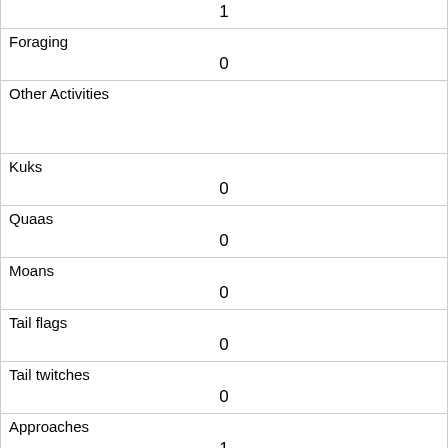| (value) | 1 |
| Foraging | 0 |
| Other Activities |  |
| Kuks | 0 |
| Quaas | 0 |
| Moans | 0 |
| Tail flags | 0 |
| Tail twitches | 0 |
| Approaches | 1 |
| Indifferent | 0 |
| Runs from |  |